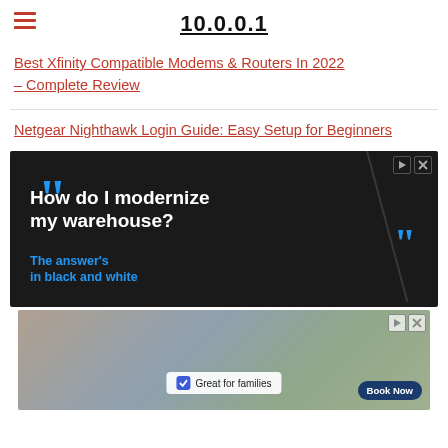10.0.0.1
Best Xfinity Compatible Modems & Routers In 2022 – Complete Review
Netgear Nighthawk Login Guide: Easy Setup for Beginners
[Figure (infographic): Advertisement banner with dark background showing text: 'How do I modernize my warehouse?' with blue quotation marks and subtext 'The answer's in black and white']
[Figure (photo): Advertisement showing people dining outdoors with text 'Great for families' and 'Book Now' button]